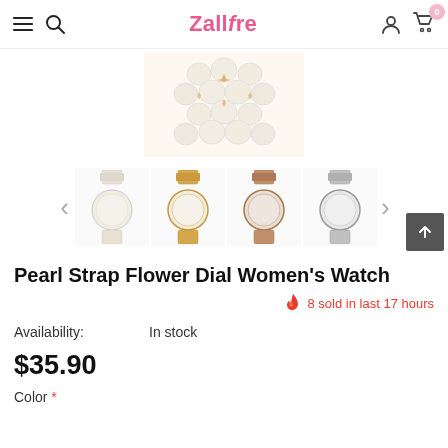Zallfre — navigation header with hamburger, search, logo, user, cart (0)
[Figure (photo): Close-up of a pearl and crystal encrusted watch face/bracelet, gold and white pearls, heart motifs]
[Figure (photo): Four thumbnail images of Pearl Strap Flower Dial Women's Watch in different color variants (cream/pearl, gold, rose gold, silver), with left and right carousel arrows]
Pearl Strap Flower Dial Women's Watch
8 sold in last 17 hours
Availability: In stock
$35.90
Color *